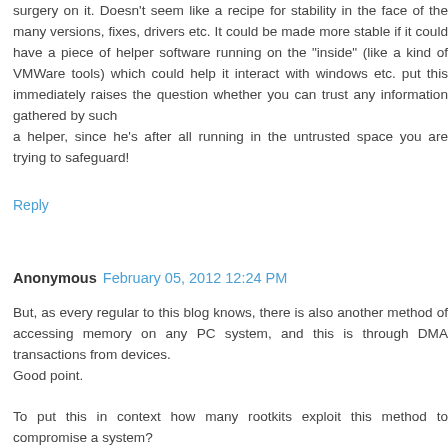surgery on it. Doesn't seem like a recipe for stability in the face of the many versions, fixes, drivers etc. It could be made more stable if it could have a piece of helper software running on the "inside" (like a kind of VMWare tools) which could help it interact with windows etc. put this immediately raises the question whether you can trust any information gathered by such
a helper, since he's after all running in the untrusted space you are trying to safeguard!
Reply
Anonymous  February 05, 2012 12:24 PM
But, as every regular to this blog knows, there is also another method of accessing memory on any PC system, and this is through DMA transactions from devices.
Good point.
To put this in context how many rootkits exploit this method to compromise a system?